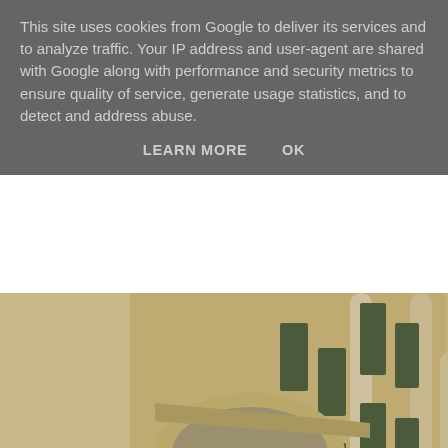This site uses cookies from Google to deliver its services and to analyze traffic. Your IP address and user-agent are shared with Google along with performance and security metrics to ensure quality of service, generate usage statistics, and to detect and address abuse.
LEARN MORE    OK
[Figure (photo): Photograph of a brutalist concrete building with curved staircases, cylindrical columns, rectangular windows, and allotment garden at the base. The LGI campus building.]
In vogue: brutalism and allotment gardening
The vast LGI campus stretches above the inner ring motorway towards the